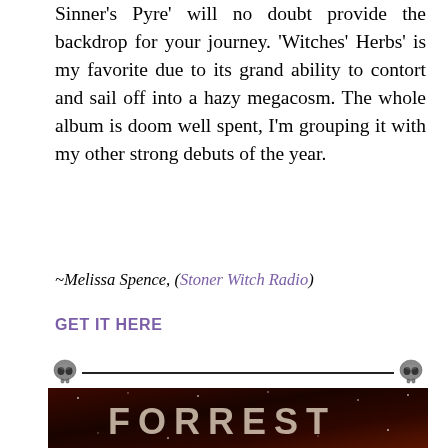Sinner's Pyre' will no doubt provide the backdrop for your journey. 'Witches' Herbs' is my favorite due to its grand ability to contort and sail off into a hazy megacosm. The whole album is doom well spent, I'm grouping it with my other strong debuts of the year.
~Melissa Spence, (Stoner Witch Radio)
GET IT HERE
[Figure (illustration): Decorative divider with skulls on each end connected by a horizontal line]
[Figure (photo): Dark red/brown album artwork showing the text FORREST in large letters over cosmic/skeletal imagery with stars]